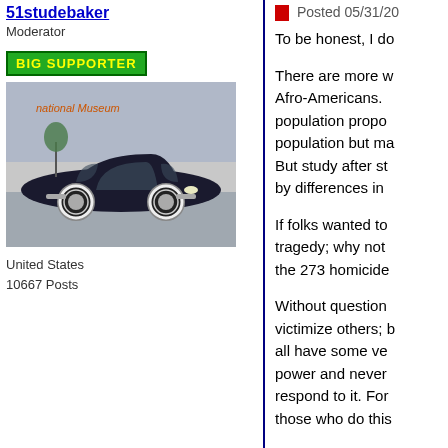51studebaker
Moderator
[Figure (illustration): Green BIG SUPPORTER badge/banner]
[Figure (photo): A dark colored vintage car (circa 1951 Studebaker) parked in front of a building with 'national museum' text visible]
United States
10667 Posts
Posted 05/31/20
To be honest, I do
There are more w Afro-Americans. population propo population but ma But study after st by differences in
If folks wanted to tragedy; why not the 273 homicide
Without question victimize others; b all have some ve power and never respond to it. For those who do this